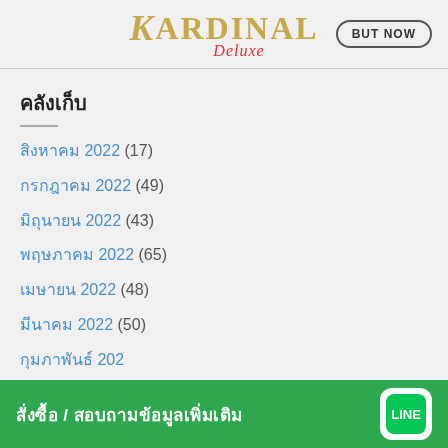[Figure (logo): Kardinal Deluxe logo with golden serif text and red italic 'Deluxe' script, plus a 'BUT NOW' button in top right]
คลังเก็บ
สิงหาคม 2022 (17)
กรกฎาคม 2022 (49)
มิถุนายน 2022 (43)
พฤษภาคม 2022 (65)
เมษายน 2022 (48)
มีนาคม 2022 (50)
กุมภาพันธ์ 202…
มกราคม 2022…
สั่งซื้อ / สอบถามข้อมูลเพิ่มเติม